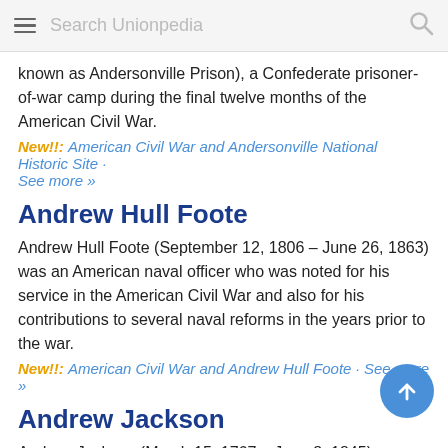Search Unionpedia
known as Andersonville Prison), a Confederate prisoner-of-war camp during the final twelve months of the American Civil War.
New!!: American Civil War and Andersonville National Historic Site · See more »
Andrew Hull Foote
Andrew Hull Foote (September 12, 1806 – June 26, 1863) was an American naval officer who was noted for his service in the American Civil War and also for his contributions to several naval reforms in the years prior to the war.
New!!: American Civil War and Andrew Hull Foote · See more »
Andrew Jackson
Andrew Jackson (March 15, 1767 – June 8, 1845) was an American soldier and statesman who served as the seventh President of the United States from 1829 to 1837.
New!!: American Civil War and Andrew Jackson · See more »